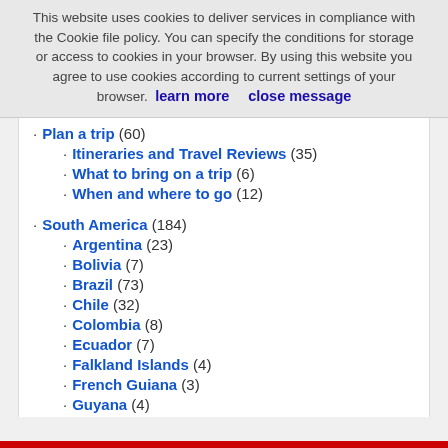This website uses cookies to deliver services in compliance with the Cookie file policy. You can specify the conditions for storage or access to cookies in your browser. By using this website you agree to use cookies according to current settings of your browser.  learn more     close message
Plan a trip (60)
Itineraries and Travel Reviews (35)
What to bring on a trip (6)
When and where to go (12)
South America (184)
Argentina (23)
Bolivia (7)
Brazil (73)
Chile (32)
Colombia (8)
Ecuador (7)
Falkland Islands (4)
French Guiana (3)
Guyana (4)
Paraguay (4)